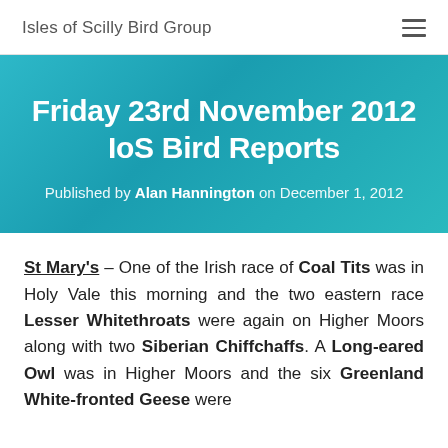Isles of Scilly Bird Group
Friday 23rd November 2012 IoS Bird Reports
Published by Alan Hannington on December 1, 2012
St Mary's – One of the Irish race of Coal Tits was in Holy Vale this morning and the two eastern race Lesser Whitethroats were again on Higher Moors along with two Siberian Chiffchaffs. A Long-eared Owl was in Higher Moors and the six Greenland White-fronted Geese were